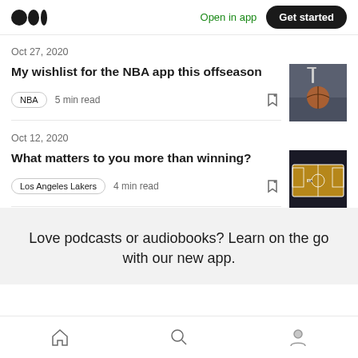Medium logo | Open in app | Get started
Oct 27, 2020
My wishlist for the NBA app this offseason
NBA · 5 min read
[Figure (photo): Basketball on outdoor court]
Oct 12, 2020
What matters to you more than winning?
Los Angeles Lakers · 4 min read
[Figure (photo): Lakers basketball court aerial view]
Love podcasts or audiobooks? Learn on the go with our new app.
Home | Search | Profile